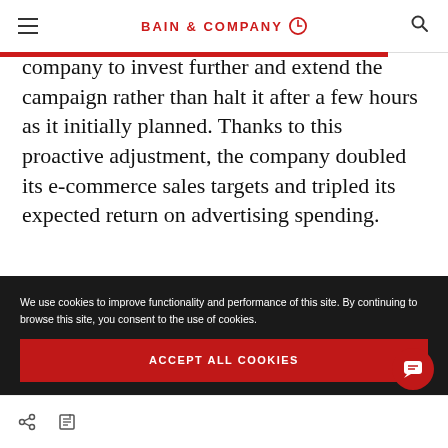BAIN & COMPANY
company to invest further and extend the campaign rather than halt it after a few hours as it initially planned. Thanks to this proactive adjustment, the company doubled its e-commerce sales targets and tripled its expected return on advertising spending.
We use cookies to improve functionality and performance of this site. By continuing to browse this site, you consent to the use of cookies.
ACCEPT ALL COOKIES